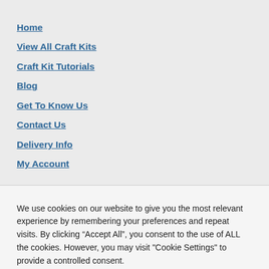Home
View All Craft Kits
Craft Kit Tutorials
Blog
Get To Know Us
Contact Us
Delivery Info
My Account
We use cookies on our website to give you the most relevant experience by remembering your preferences and repeat visits. By clicking “Accept All”, you consent to the use of ALL the cookies. However, you may visit "Cookie Settings" to provide a controlled consent.
Cookie Settings
Accept All